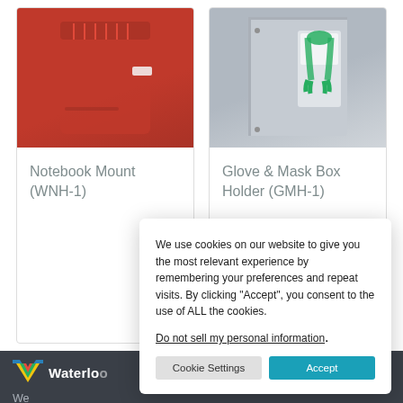[Figure (photo): Red sharps/notebook wall mount container product photo]
Notebook Mount (WNH-1)
[Figure (photo): Glove and mask box holder wall mount product photo, gray metal with green gloves]
Glove & Mask Box Holder (GMH-1)
[Figure (logo): Waterloo Healthcare logo - colorful W mark with Waterloo text]
We manufacture the most customizable maintainable and easy to use medical
We use cookies on our website to give you the most relevant experience by remembering your preferences and repeat visits. By clicking “Accept”, you consent to the use of ALL the cookies.
Do not sell my personal information.